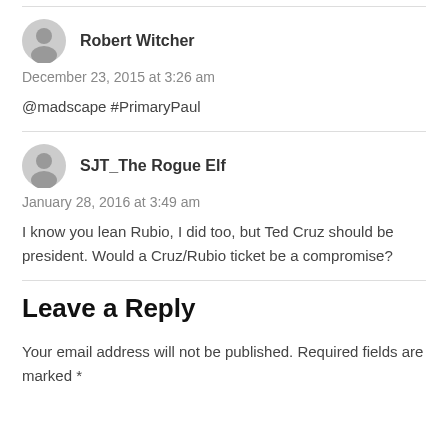Robert Witcher
December 23, 2015 at 3:26 am
@madscape #PrimaryPaul
SJT_The Rogue Elf
January 28, 2016 at 3:49 am
I know you lean Rubio, I did too, but Ted Cruz should be president. Would a Cruz/Rubio ticket be a compromise?
Leave a Reply
Your email address will not be published. Required fields are marked *